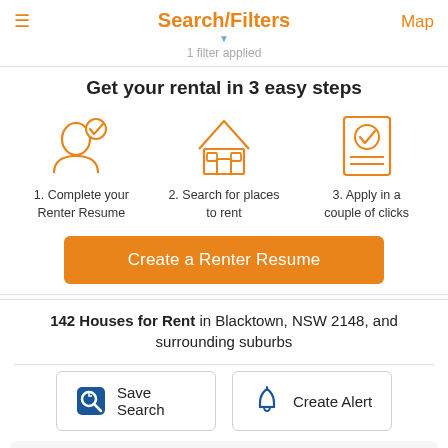Search/Filters
1 filter applied
Get your rental in 3 easy steps
1. Complete your Renter Resume
2. Search for places to rent
3. Apply in a couple of clicks
Create a Renter Resume
142 Houses for Rent in Blacktown, NSW 2148, and surrounding suburbs
Save Search
Create Alert